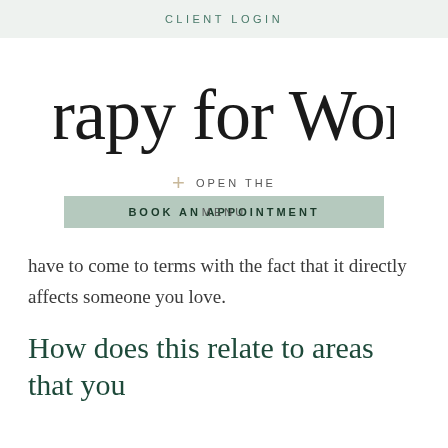CLIENT LOGIN
[Figure (logo): Therapy for Women cursive script logo in black]
+ OPEN THE MENU
BOOK AN APPOINTMENT
have to come to terms with the fact that it directly affects someone you love.
How does this relate to areas that you